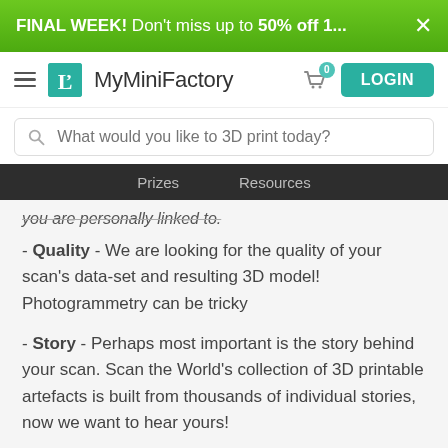FINAL WEEK! Don't miss up to 50% off 1... ×
[Figure (logo): MyMiniFactory logo and navigation bar with hamburger menu, teal logo box, brand name, cart icon with badge 0, and LOGIN button]
What would you like to 3D print today?
Prizes   Resources
you are personally linked to.
- Quality - We are looking for the quality of your scan's data-set and resulting 3D model! Photogrammetry can be tricky
- Story - Perhaps most important is the story behind your scan. Scan the World's collection of 3D printable artefacts is built from thousands of individual stories, now we want to hear yours!